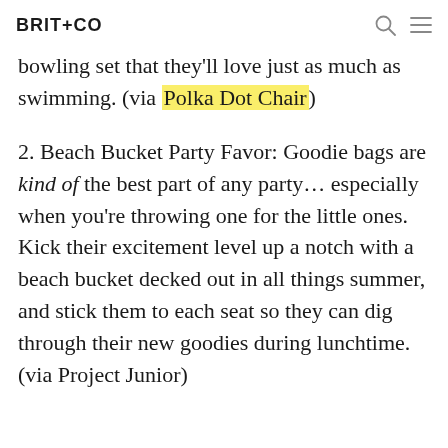BRIT+CO
bowling set that they'll love just as much as swimming. (via Polka Dot Chair)
2. Beach Bucket Party Favor: Goodie bags are kind of the best part of any party… especially when you're throwing one for the little ones. Kick their excitement level up a notch with a beach bucket decked out in all things summer, and stick them to each seat so they can dig through their new goodies during lunchtime. (via Project Junior)